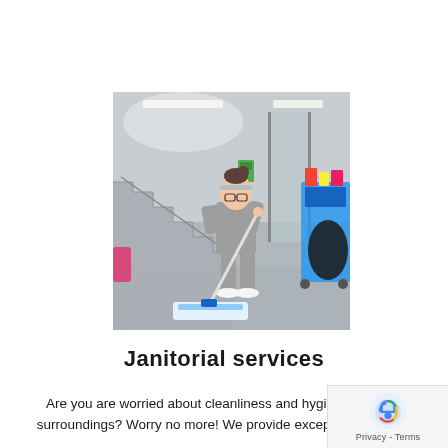[Figure (photo): A janitorial worker in grey scrubs and headband mopping a grey tiled floor in a modern building with stairs and a cleaning cart in the background.]
Janitorial services
Are you are worried about cleanliness and hygiene of your surroundings? Worry no more! We provide exceptional day to